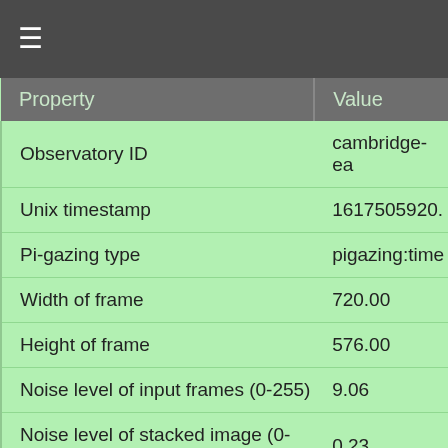≡
| Property | Value |
| --- | --- |
| Observatory ID | cambridge-ea |
| Unix timestamp | 1617505920. |
| Pi-gazing type | pigazing:time |
| Width of frame | 720.00 |
| Height of frame | 576.00 |
| Noise level of input frames (0-255) | 9.06 |
| Noise level of stacked image (0-255) | 0.23 |
| Average pixel brightness (0-255) | 218.99 |
| Multiplicative gain applied to image | 1.00 |
| Number of frames spanned | 1498.00 |
| Right ascension of Sun (hr) | 0.90 |
| Declination of Sun (deg) | 5.75 |